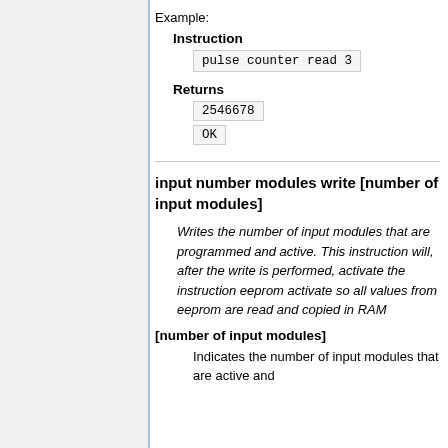Example:
Instruction
pulse counter read 3
Returns
2546678
OK
input number modules write [number of input modules]
Writes the number of input modules that are programmed and active. This instruction will, after the write is performed, activate the instruction eeprom activate so all values from eeprom are read and copied in RAM
[number of input modules]
Indicates the number of input modules that are active and